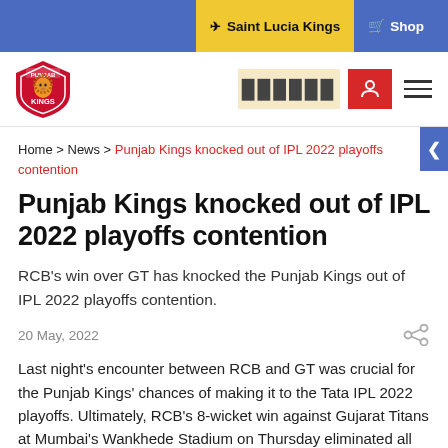Saint Lucia Kings | Shop
[Figure (logo): Punjab Kings logo — red shield with lion and KINGS text]
Home > News > Punjab Kings knocked out of IPL 2022 playoffs contention
Punjab Kings knocked out of IPL 2022 playoffs contention
RCB's win over GT has knocked the Punjab Kings out of IPL 2022 playoffs contention.
20 May, 2022
Last night's encounter between RCB and GT was crucial for the Punjab Kings' chances of making it to the Tata IPL 2022 playoffs. Ultimately, RCB's 8-wicket win against Gujarat Titans at Mumbai's Wankhede Stadium on Thursday eliminated all opportunities for